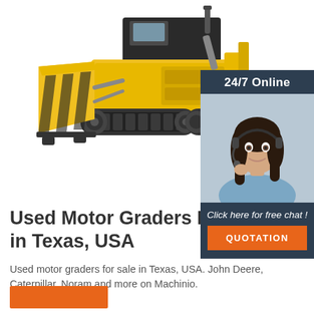[Figure (photo): Yellow heavy bulldozer with blade on left side, photographed on white background]
[Figure (infographic): 24/7 Online chat widget with dark navy background, female customer service agent wearing headset, 'Click here for free chat!' text, and orange QUOTATION button]
Used Motor Graders For Sale in Texas, USA
Used motor graders for sale in Texas, USA. John Deere, Caterpillar, Noram and more on Machinio.